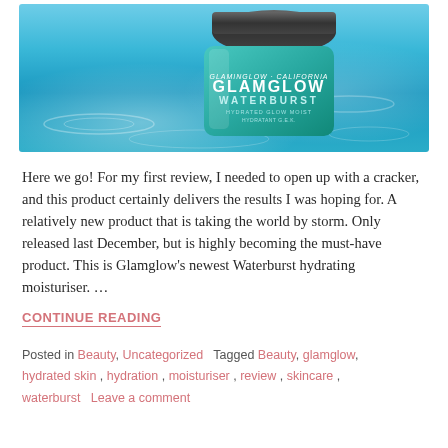[Figure (photo): GlamGlow Waterburst hydrating moisturiser jar with teal/turquoise colour sitting in water with water ripple effects around it. Jar has black lid and teal body with white text reading GLAMGLOW WATERBURST HYDRATED GLOW MOIST.]
Here we go! For my first review, I needed to open up with a cracker, and this product certainly delivers the results I was hoping for. A relatively new product that is taking the world by storm. Only released last December, but is highly becoming the must-have product. This is Glamglow's newest Waterburst hydrating moisturiser. …
CONTINUE READING
Posted in Beauty, Uncategorized   Tagged Beauty, glamglow, hydrated skin, hydration, moisturiser, review, skincare, waterburst   Leave a comment